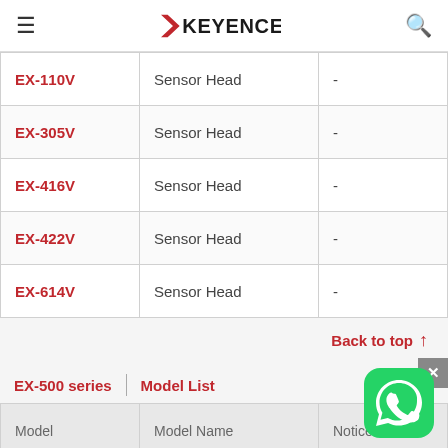KEYENCE
| Model | Model Name | Notice |
| --- | --- | --- |
| EX-110V | Sensor Head | - |
| EX-305V | Sensor Head | - |
| EX-416V | Sensor Head | - |
| EX-422V | Sensor Head | - |
| EX-614V | Sensor Head | - |
Back to top ↑
EX-500 series | Model List
| Model | Model Name | Notice |
| --- | --- | --- |